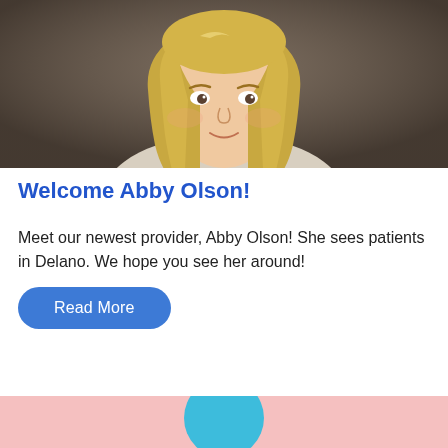[Figure (photo): Professional headshot of Abby Olson, a woman with long wavy blonde hair, wearing a light beige blazer, photographed against a dark gray background.]
Welcome Abby Olson!
Meet our newest provider, Abby Olson! She sees patients in Delano. We hope you see her around!
Read More
[Figure (photo): Bottom strip showing a pink background with a teal/blue circular element partially visible at the bottom center.]